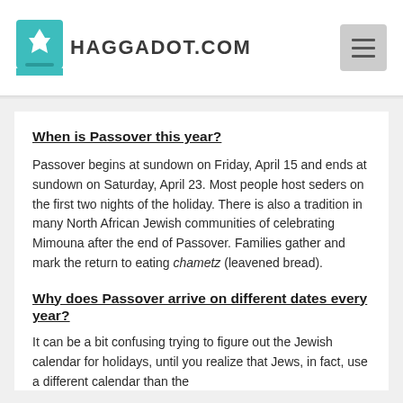HAGGADOT.COM
When is Passover this year?
Passover begins at sundown on Friday, April 15 and ends at sundown on Saturday, April 23. Most people host seders on the first two nights of the holiday. There is also a tradition in many North African Jewish communities of celebrating Mimouna after the end of Passover. Families gather and mark the return to eating chametz (leavened bread).
Why does Passover arrive on different dates every year?
It can be a bit confusing trying to figure out the Jewish calendar for holidays, until you realize that Jews, in fact, use a different calendar than the